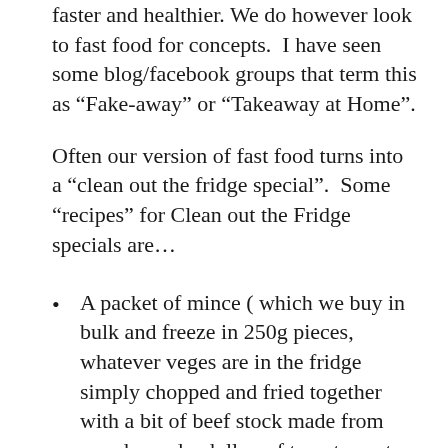faster and healthier. We do however look to fast food for concepts. I have seen some blog/facebook groups that term this as “Fake-away” or “Takeaway at Home”.
Often our version of fast food turns into a “clean out the fridge special”. Some “recipes” for Clean out the Fridge specials are…
A packet of mince ( which we buy in bulk and freeze in 250g pieces, whatever veges are in the fridge simply chopped and fried together with a bit of beef stock made from powder and a dollop of tomato paste get a tin of tomatoes added and simmered for 15